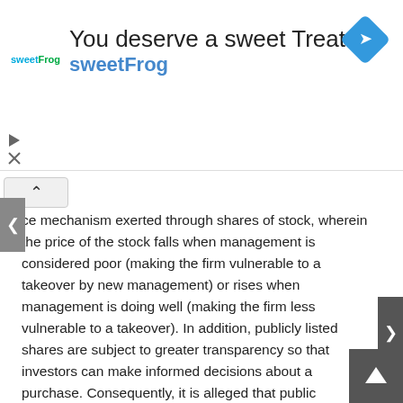[Figure (other): Advertisement banner for sweetFrog frozen yogurt. Shows sweetFrog logo, text 'You deserve a sweet Treat' and 'sweetFrog', with a blue diamond navigation icon on the right.]
ce mechanism exerted through shares of stock, wherein the price of the stock falls when management is considered poor (making the firm vulnerable to a takeover by new management) or rises when management is doing well (making the firm less vulnerable to a takeover). In addition, publicly listed shares are subject to greater transparency so that investors can make informed decisions about a purchase. Consequently, it is alleged that public companies (companies that are owned by shareholders who are members of the general public and trade shares on public exchanges) tend to have better management records than privately held companies (those companies where shares are not publicly traded, often owned by the company founders, their families and heirs, or otherwise by a small group of investors).
Despite this claim, some well-documented cases are known where it is alleged that there has been considerable slippage in corporate governance on the part of some public companies, particularly in the cases of accounting scandals. The policies that led to the dot-